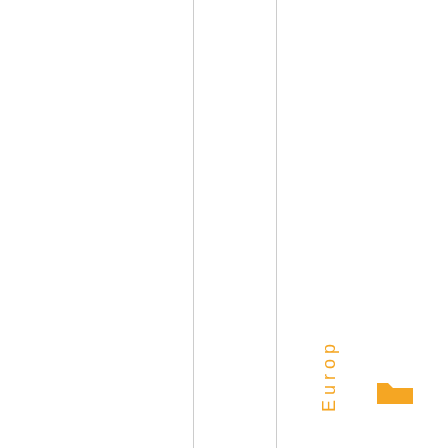Webinars, announcements
events, Home Events, Home News, IE Activities, No...
ropenDemocracySites.
[Figure (other): Orange folder icon]